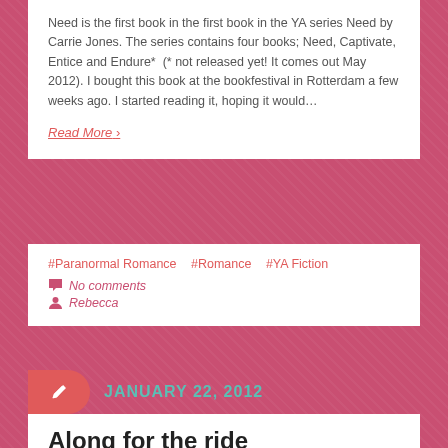Need is the first book in the first book in the YA series Need by Carrie Jones. The series contains four books; Need, Captivate, Entice and Endure*  (* not released yet! It comes out May 2012). I bought this book at the bookfestival in Rotterdam a few weeks ago. I started reading it, hoping it would…
Read More ›
#Paranormal Romance   #Romance   #YA Fiction
No comments
Rebecca
JANUARY 22, 2012
Along for the ride
I went to a bookfestival yesterday, and bought ten new books. One of them is Along for the ride by Sarah Dessen. I already knew Sarah Dessen from Just Listen, This Lullaby, This Summer and Lock&Key. So